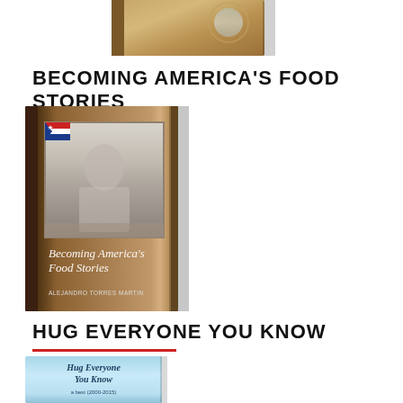[Figure (photo): Top portion of a book cover showing spine and top edge with decorative gold/brown coloring]
BECOMING AMERICA'S FOOD STORIES
[Figure (photo): Book cover of 'Becoming America's Food Stories' showing a vintage black and white photo of a person cooking, with brown/wood-grain design and the book title in italic script]
HUG EVERYONE YOU KNOW
[Figure (photo): Book cover of 'Hug Everyone You Know' with light blue background and the title in italic font]